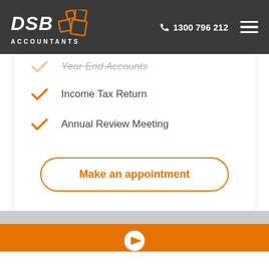DSB ACCOUNTANTS | 1300 796 212
Year End Accounts
Income Tax Return
Annual Review Meeting
Make an appointment
[Figure (logo): Orange DSB logo icon with play button on orange background at bottom]